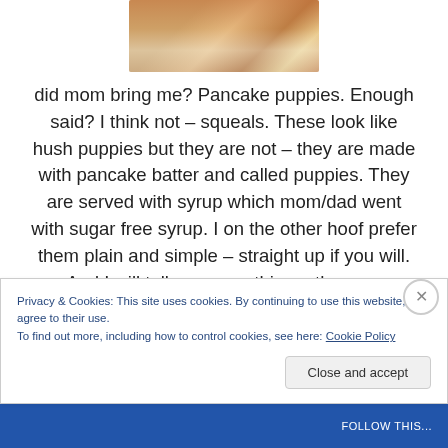[Figure (photo): Close-up photo of pancake puppies (fried pancake batter balls) on a plate]
did mom bring me?  Pancake puppies.  Enough said?  I think not – squeals.  These look like hush puppies but they are not – they are made with pancake batter and called puppies.  They are served with syrup which mom/dad went with sugar free syrup.  I on the other hoof prefer them plain and simple – straight up if you will.  And I will tell you something – they are fantastic!
So did you eat anything exciting over the holiday?
Privacy & Cookies: This site uses cookies. By continuing to use this website, you agree to their use.
To find out more, including how to control cookies, see here: Cookie Policy
Close and accept